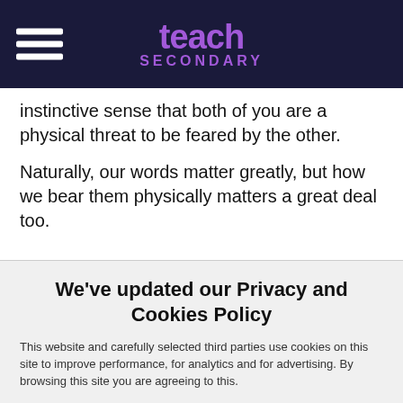teach SECONDARY
instinctive sense that both of you are a physical threat to be feared by the other.
Naturally, our words matter greatly, but how we bear them physically matters a great deal too.
We've updated our Privacy and Cookies Policy
This website and carefully selected third parties use cookies on this site to improve performance, for analytics and for advertising. By browsing this site you are agreeing to this.
For more information see our Privacy and Cookie policy.